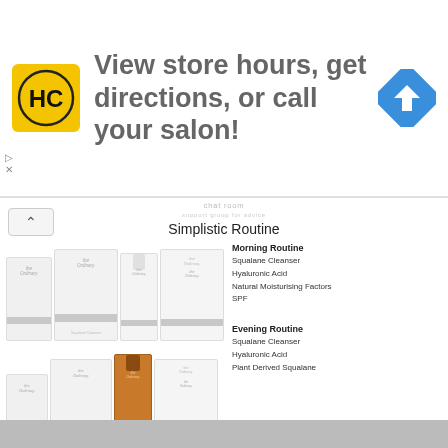[Figure (screenshot): Advertisement banner: HC Headquarters logo (yellow/black), text 'View store hours, get directions, or call your salon!', blue diamond navigation arrow icon on right]
chat room
Simplistic Routine
[Figure (photo): The Ordinary skincare products for morning routine - two white bottles/tubes and a serum dropper bottle with labels]
Morning Routine
Squalane Cleanser
Hyaluronic Acid
Natural Moisturising Factors
SPF
[Figure (photo): The Ordinary skincare products for evening routine - white tubes and an amber dropper bottle with labels]
Evening Routine
Squalane Cleanser
Hyaluronic Acid
Plant Derived Squalane
[Figure (screenshot): Partially visible bottom content area with grey bar]